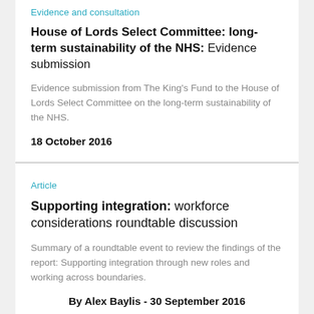Evidence and consultation
House of Lords Select Committee: long-term sustainability of the NHS: Evidence submission
Evidence submission from The King's Fund to the House of Lords Select Committee on the long-term sustainability of the NHS.
18 October 2016
Article
Supporting integration: workforce considerations roundtable discussion
Summary of a roundtable event to review the findings of the report: Supporting integration through new roles and working across boundaries.
By Alex Baylis - 30 September 2016